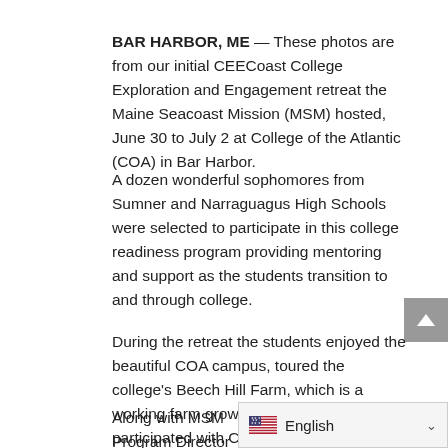BAR HARBOR, ME — These photos are from our initial CEECoast College Exploration and Engagement retreat the Maine Seacoast Mission (MSM) hosted, June 30 to July 2 at College of the Atlantic (COA) in Bar Harbor.
A dozen wonderful sophomores from Sumner and Narraguagus High Schools were selected to participate in this college readiness program providing mentoring and support as the students transition to and through college.
During the retreat the students enjoyed the beautiful COA campus, toured the college's Beech Hill Farm, which is a working farm growing fresh vegetables, participated with COA professors in workshops, did team building activities and an art project.
Along with MSM Program Director for New Education Initiatives Christina Griffith, MS...